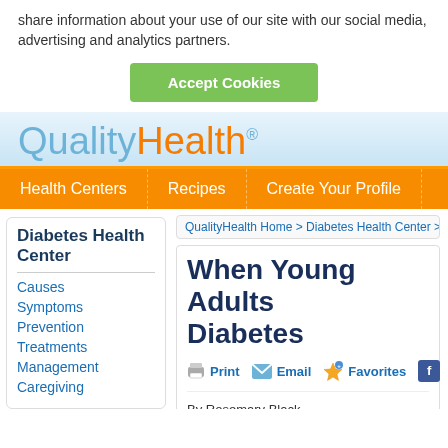share information about your use of our site with our social media, advertising and analytics partners.
Accept Cookies
[Figure (logo): QualityHealth® logo with Quality in blue and Health in orange]
Health Centers
Recipes
Create Your Profile
Diabetes Health Center
Causes
Symptoms
Prevention
Treatments
Management
Caregiving
QualityHealth Home > Diabetes Health Center > W
When Young Adults Diabetes
Print  Email  Favorites
By Rosemary Black
Reviewed by QualityHealth's Medical Advisory Board